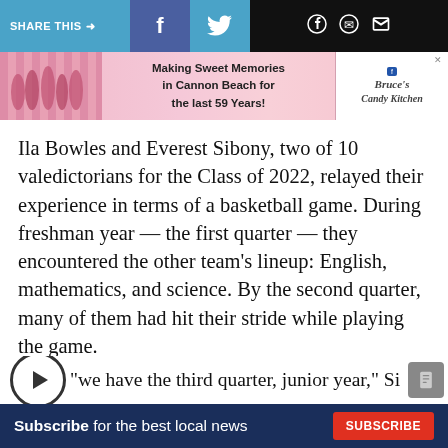SHARE THIS → f 🐦 WhatsApp Chat Email
[Figure (photo): Advertisement banner for Bruce's Candy Kitchen: 'Making Sweet Memories in Cannon Beach for the last 59 Years!' with group photo on the left and candy kitchen logo on the right.]
Ila Bowles and Everest Sibony, two of 10 valedictorians for the Class of 2022, relayed their experience in terms of a basketball game. During freshman year — the first quarter — they encountered the other team's lineup: English, mathematics, and science. By the second quarter, many of them had hit their stride while playing the game.
"[...] we have the third quarter, junior year," Si
Subscribe for the best local news  SUBSCRIBE